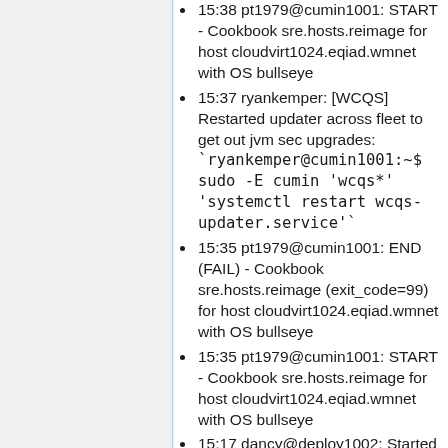15:38 pt1979@cumin1001: START - Cookbook sre.hosts.reimage for host cloudvirt1024.eqiad.wmnet with OS bullseye
15:37 ryankemper: [WCQS] Restarted updater across fleet to get out jvm sec upgrades: `ryankemper@cumin1001:~$ sudo -E cumin 'wcqs*' 'systemctl restart wcqs-updater.service'`
15:35 pt1979@cumin1001: END (FAIL) - Cookbook sre.hosts.reimage (exit_code=99) for host cloudvirt1024.eqiad.wmnet with OS bullseye
15:35 pt1979@cumin1001: START - Cookbook sre.hosts.reimage for host cloudvirt1024.eqiad.wmnet with OS bullseye
15:17 dancy@deploy1002: Started